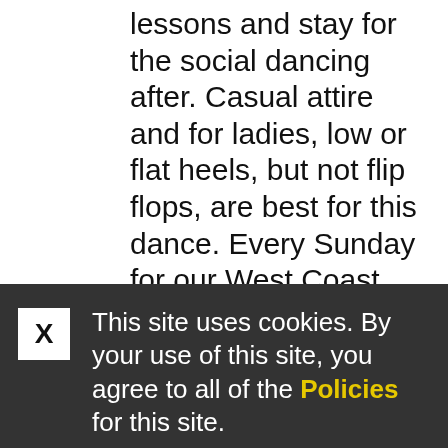lessons and stay for the social dancing after. Casual attire and for ladies, low or flat heels, but not flip flops, are best for this dance. Every Sunday for our West Coast Swing group classes. Join us afterwards for even more fabulous fun. We usually go nearby to Mojo's Grill, where
X  This site uses cookies. By your use of this site, you agree to all of the Policies for this site.